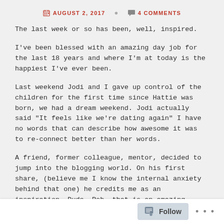AUGUST 2, 2017   4 COMMENTS
The last week or so has been, well, inspired.
I've been blessed with an amazing day job for the last 18 years and where I'm at today is the happiest I've ever been.
Last weekend Jodi and I gave up control of the children for the first time since Hattie was born, we had a dream weekend. Jodi actually said "It feels like we're dating again" I have no words that can describe how awesome it was to reconnect better than her words.
A friend, former colleague, mentor, decided to jump into the blogging world. On his first share, (believe me I know the internal anxiety behind that one) he credits me as an inspiration. Dude. Rob, that is an amazing compliment. You
Follow ...